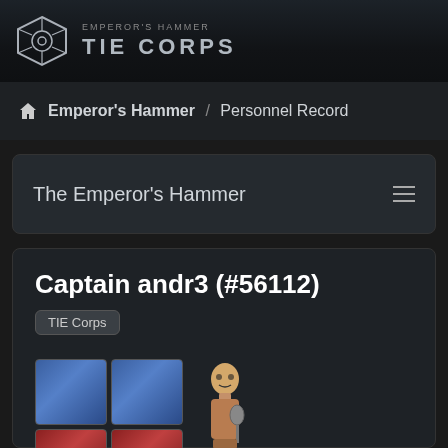EMPEROR'S HAMMER TIE CORPS
Emperor's Hammer / Personnel Record
The Emperor's Hammer
Captain andr3 (#56112)
TIE Corps
[Figure (illustration): Medal/award grid showing 2x2 colored squares (2 blue top, 2 red bottom) and a trophy figurine to the right]